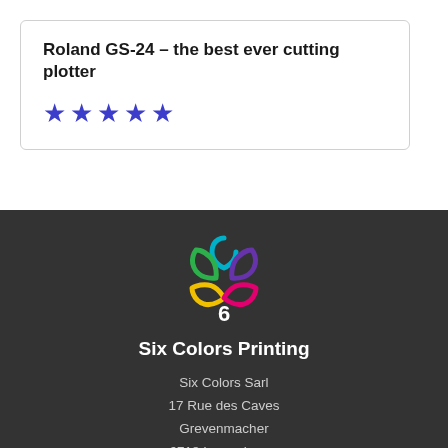Roland GS-24 – the best ever cutting plotter
[Figure (other): Five blue star rating icons]
[Figure (logo): Six Colors Printing logo: colorful flower/teardrop petals in green, teal, purple, pink, yellow with a white number 6 in the center]
Six Colors Printing
Six Colors Sarl
17 Rue des Caves
Grevenmacher
6718 Luxembourg